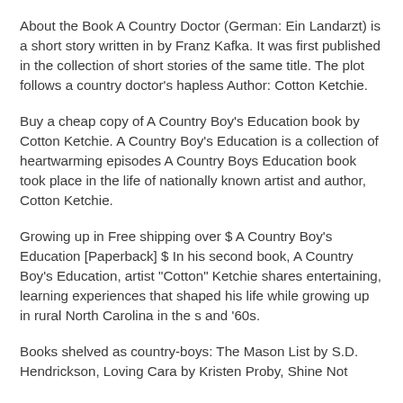About the Book A Country Doctor (German: Ein Landarzt) is a short story written in by Franz Kafka. It was first published in the collection of short stories of the same title. The plot follows a country doctor's hapless Author: Cotton Ketchie.
Buy a cheap copy of A Country Boy's Education book by Cotton Ketchie. A Country Boy's Education is a collection of heartwarming episodes A Country Boys Education book took place in the life of nationally known artist and author, Cotton Ketchie.
Growing up in Free shipping over $ A Country Boy's Education [Paperback] $ In his second book, A Country Boy's Education, artist "Cotton" Ketchie shares entertaining, learning experiences that shaped his life while growing up in rural North Carolina in the s and '60s.
Books shelved as country-boys: The Mason List by S.D. Hendrickson, Loving Cara by Kristen Proby, Shine Not